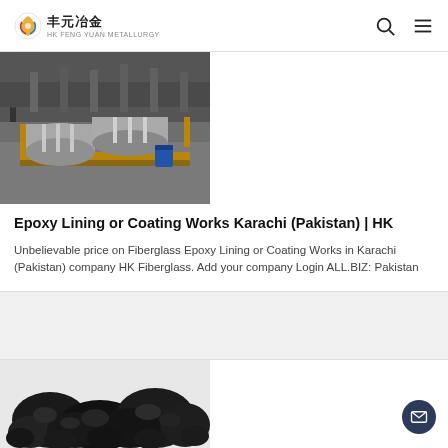丰元冶金
[Figure (photo): Industrial warehouse with large cylindrical tanks/vessels packed in wooden crates on a factory floor]
Epoxy Lining or Coating Works Karachi (Pakistan) | HK
Unbelievable price on Fiberglass Epoxy Lining or Coating Works in Karachi (Pakistan) company HK Fiberglass. Add your company Login ALL.BIZ: Pakistan
[Figure (photo): Black coal/carbon lumps aggregate material]